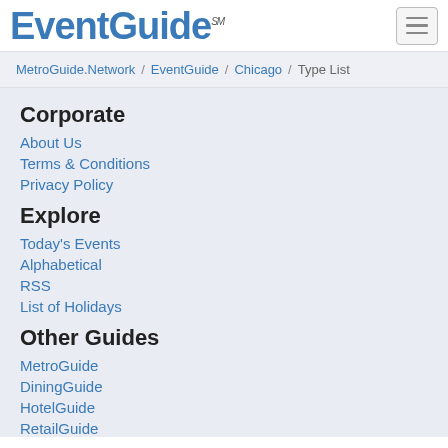EventGuide
MetroGuide.Network / EventGuide / Chicago / Type List
Corporate
About Us
Terms & Conditions
Privacy Policy
Explore
Today's Events
Alphabetical
RSS
List of Holidays
Other Guides
MetroGuide
DiningGuide
HotelGuide
RetailGuide